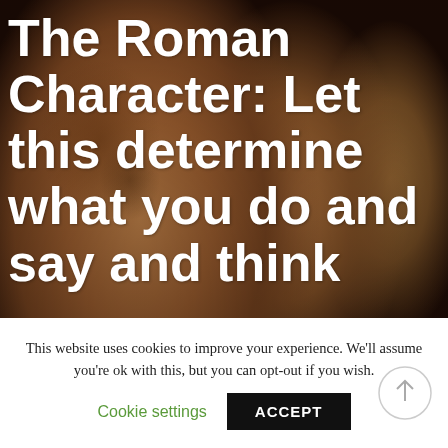[Figure (photo): Background photograph of Roman stone busts/sculptures in profile view, warm sepia/terracotta tones, showing aged stone faces in a row]
The Roman Character: Let this determine what you do and say and think
This website uses cookies to improve your experience. We'll assume you're ok with this, but you can opt-out if you wish.
Cookie settings   ACCEPT